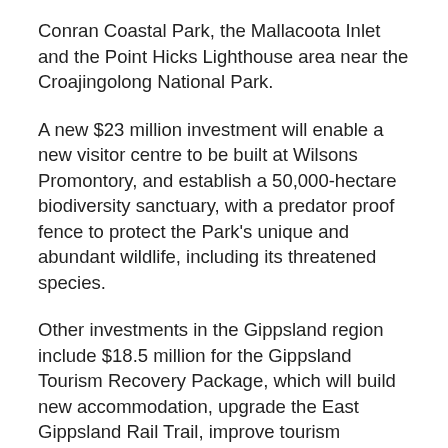Conran Coastal Park, the Mallacoota Inlet and the Point Hicks Lighthouse area near the Croajingolong National Park.
A new $23 million investment will enable a new visitor centre to be built at Wilsons Promontory, and establish a 50,000-hectare biodiversity sanctuary, with a predator proof fence to protect the Park's unique and abundant wildlife, including its threatened species.
Other investments in the Gippsland region include $18.5 million for the Gippsland Tourism Recovery Package, which will build new accommodation, upgrade the East Gippsland Rail Trail, improve tourism infrastructure across Victoria's east and support local jobs.
This includes $3.5 million to build 10 eco-pods at Cape Conran Coastal Park and $2 million for more campsites.